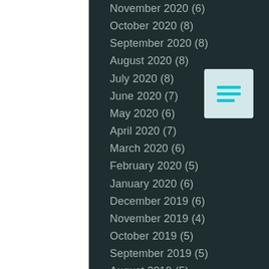November 2020 (6)
October 2020 (8)
September 2020 (8)
August 2020 (8)
July 2020 (8)
June 2020 (7)
May 2020 (6)
April 2020 (7)
March 2020 (6)
February 2020 (5)
January 2020 (6)
December 2019 (6)
November 2019 (4)
October 2019 (5)
September 2019 (5)
August 2019 (5)
July 2019 (7)
June 2019 (6)
May 2019 (8)
April 2019 (12)
March 2019 (8)
February 2019 (7)
[Figure (other): Menu icon with three horizontal cyan lines on a light blue-gray square background]